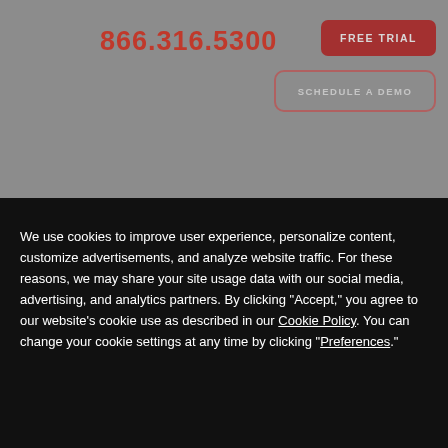866.316.5300
FREE TRIAL
SCHEDULE A DEMO
We use cookies to improve user experience, personalize content, customize advertisements, and analyze website traffic. For these reasons, we may share your site usage data with our social media, advertising, and analytics partners. By clicking "Accept," you agree to our website's cookie use as described in our Cookie Policy. You can change your cookie settings at any time by clicking "Preferences."
Accept
BUILDCENTRAL NEWS
2022'S TOP 5 MOST ACTIVE GROCERY RETAILERS IN AMERICA